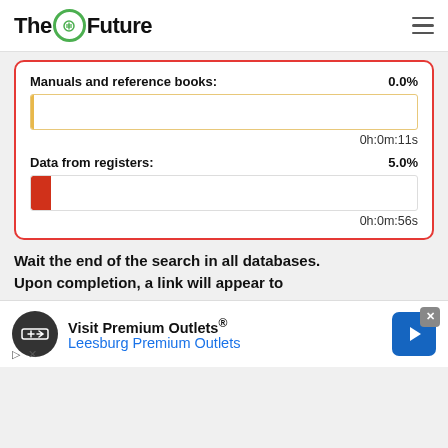TheFuture
Manuals and reference books: 0.0%
[Figure (other): Progress bar for Manuals and reference books at 0.0%, nearly empty bar with gold left border, time 0h:0m:11s]
Data from registers: 5.0%
[Figure (other): Progress bar for Data from registers at 5.0%, small red fill on left, time 0h:0m:56s]
Wait the end of the search in all databases.
Upon completion, a link will appear to
[Figure (other): Advertisement banner: Visit Premium Outlets® Leesburg Premium Outlets, with Saks logo and navigation icon]